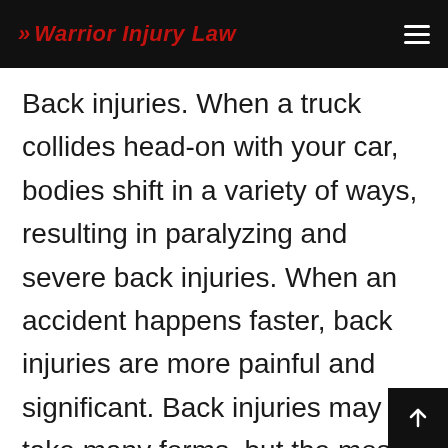Warrior Injury Law
Back injuries. When a truck collides head-on with your car, bodies shift in a variety of ways, resulting in paralyzing and severe back injuries. When an accident happens faster, back injuries are more painful and significant. Back injuries may take many forms, but the most common are broken vertebrae, herniated discs, and slipped discs.